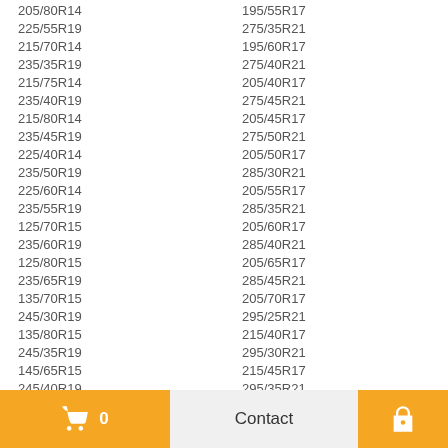205/80R14
195/55R17
225/55R19
275/35R21
215/70R14
195/60R17
235/35R19
275/40R21
215/75R14
205/40R17
235/40R19
275/45R21
215/80R14
205/45R17
235/45R19
275/50R21
225/40R14
205/50R17
235/50R19
285/30R21
225/60R14
205/55R17
235/55R19
285/35R21
125/70R15
205/60R17
235/60R19
285/40R21
125/80R15
205/65R17
235/65R19
285/45R21
135/70R15
205/70R17
245/30R19
295/25R21
135/80R15
215/40R17
245/35R19
295/30R21
145/65R15
215/45R17
245/40R19
295/35R21
155/60R15
215/50R17
245/45R19
295/40R21
155/80R15
0  Contact